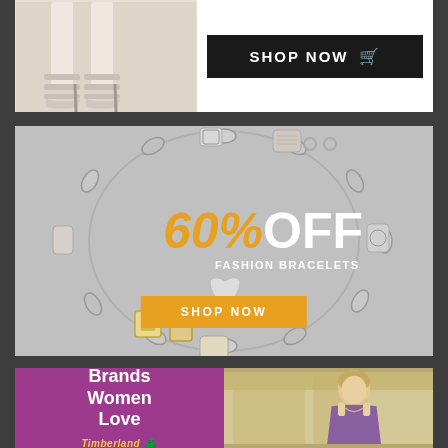[Figure (photo): White high-heeled strappy sandals on a light background]
[Figure (infographic): Black SHOP NOW button with shopping cart icon]
[Figure (infographic): Charm bracelet on light gray background with text '60% OFF FASHION BRACELETS' in orange/white and orange SHOP NOW button]
Brands Women Love
[Figure (logo): Timberland logo in yellow italic text with tree icon]
[Figure (photo): Woman in purple dress outdoors, lifestyle fashion photo]